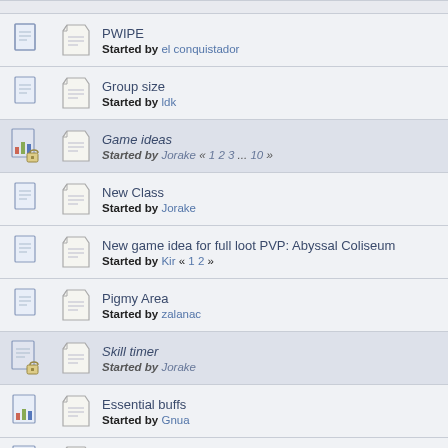PWIPE
Started by el conquistador
Group size
Started by ldk
Game ideas
Started by Jorake « 1 2 3 ... 10 »
New Class
Started by Jorake
New game idea for full loot PVP: Abyssal Coliseum
Started by Kir « 1 2 »
Pigmy Area
Started by zalanac
Skill timer
Started by Jorake
Essential buffs
Started by Gnua
Locate Object
Started by Gnua